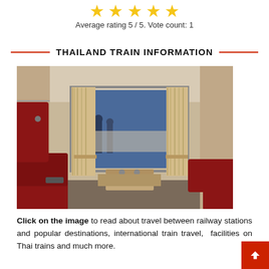[Figure (other): Five gold star rating icons]
Average rating 5 / 5. Vote count: 1
THAILAND TRAIN INFORMATION
[Figure (photo): Interior of a Thai train carriage showing red seats, beige curtains, and a window with a platform visible outside]
Click on the image to read about travel between railway stations and popular destinations, international train travel, facilities on Thai trains and much more.